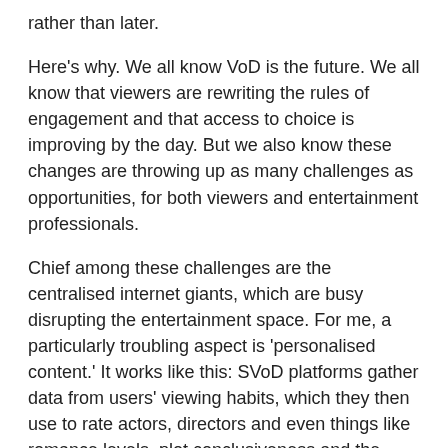rather than later.
Here's why. We all know VoD is the future. We all know that viewers are rewriting the rules of engagement and that access to choice is improving by the day. But we also know these changes are throwing up as many challenges as opportunities, for both viewers and entertainment professionals.
Chief among these challenges are the centralised internet giants, which are busy disrupting the entertainment space. For me, a particularly troubling aspect is 'personalised content.' It works like this: SVoD platforms gather data from users' viewing habits, which they then use to rate actors, directors and even things like romance levels, plot conclusiveness and the 'moral status' of characters to judge whether a piece of content is worthy of transmission.
These user-data-based scoring systems have a single objective in mind: to make more money by locking-in